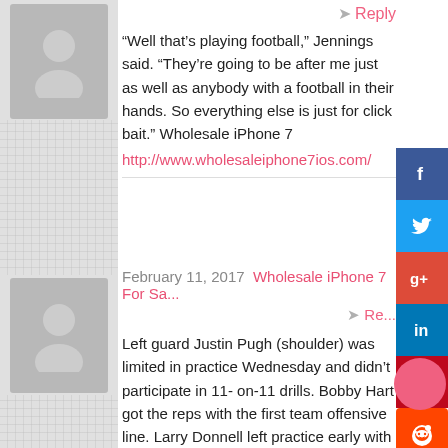[Figure (illustration): Gray avatar placeholder image, person silhouette, top-left area]
Reply
“Well that’s playing football,” Jennings said. “They’re going to be after me just as well as anybody with a football in their hands. So everything else is just for click bait.” Wholesale iPhone 7
http://www.wholesaleiphone7ios.com/
[Figure (illustration): Gray avatar placeholder image, person silhouette, lower-left area]
February 11, 2017  Wholesale iPhone 7 For Sa...
Re...
Left guard Justin Pugh (shoulder) was limited in practice Wednesday and didn’t participate in 11-on-11 drills. Bobby Hart got the reps with the first team offensive line. Larry Donnell left practice early with an undisclosed injury. Tight ends Matt LaCosse (knee) and Will Johnson (burner) and
[Figure (infographic): Social media sharing buttons bar on right side: Facebook, Twitter, Google+, LinkedIn, Pinterest, Reddit, StumbleUpon, Email]